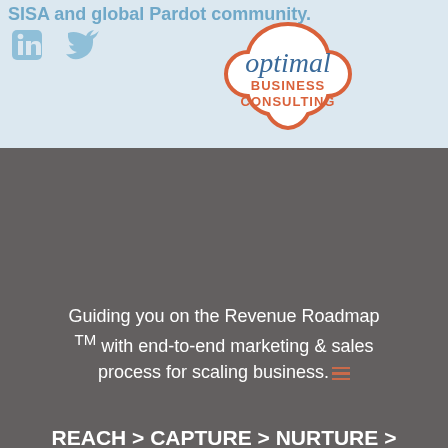SISA and global Pardot community.
[Figure (logo): LinkedIn and Twitter social media icons in light blue]
[Figure (logo): Optimal Business Consulting logo - cloud-shaped outline in coral/orange with company name inside]
Guiding you on the Revenue Roadmap ™ with end-to-end marketing & sales process for scaling business.
REACH > CAPTURE > NURTURE > ENGAGE > QUALIFY > SELL > SERVICE > OPERATE > REPORT
© 2022 Optimal Business Consulting. Private & Confidential. No unauthorized distribution. Privacy, Terms and Billing.